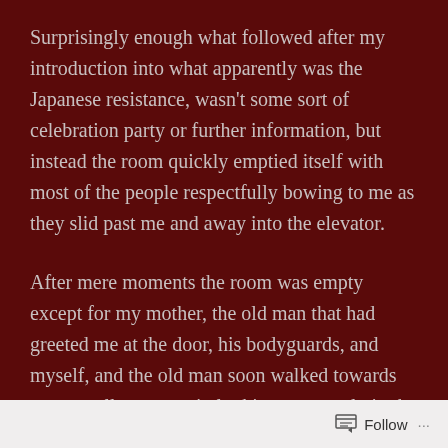Surprisingly enough what followed after my introduction into what apparently was the Japanese resistance, wasn't some sort of celebration party or further information, but instead the room quickly emptied itself with most of the people respectfully bowing to me as they slid past me and away into the elevator.
After mere moments the room was empty except for my mother, the old man that had greeted me at the door, his bodyguards, and myself, and the old man soon walked towards me as well, once again looking me sternly in the eyes before saying "I'll leave the rest to your family for now, I just want you to know that I have known your father for a very long time, and hope you'll be able to
Follow